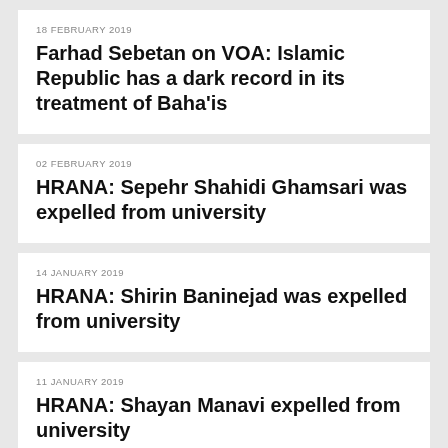18 FEBRUARY 2019
Farhad Sebetan on VOA: Islamic Republic has a dark record in its treatment of Baha'is
02 FEBRUARY 2019
HRANA: Sepehr Shahidi Ghamsari was expelled from university
14 JANUARY 2019
HRANA: Shirin Baninejad was expelled from university
11 JANUARY 2019
HRANA: Shayan Manavi expelled from university
10 JANUARY 2019